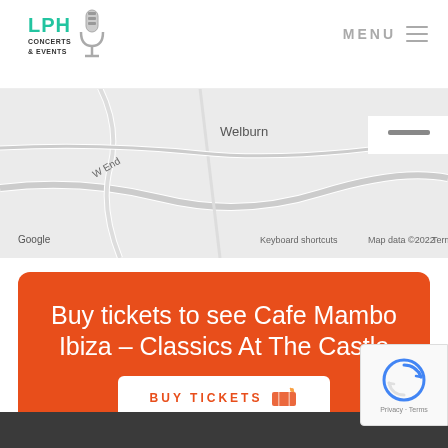LPH CONCERTS & EVENTS | MENU
[Figure (map): Google Maps partial view showing Welburn and W End area with road lines, Google watermark, and map data copyright text]
Buy tickets to see Cafe Mambo Ibiza – Classics At The Castle
BUY TICKETS
Terms & Conditions
[Figure (other): reCAPTCHA privacy badge with circular arrow logo and Privacy · Terms text]